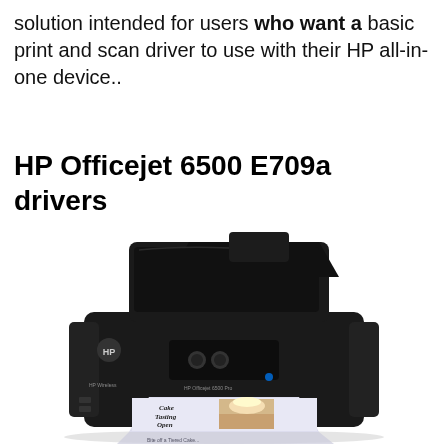solution intended for users who want a basic print and scan driver to use with their HP all-in-one device..
HP Officejet 6500 E709a drivers
[Figure (photo): Photo of the HP Officejet 6500 E709a all-in-one printer/scanner in black, with a printed color document (Cake Tasting Open House flyer) coming out of the front paper tray.]